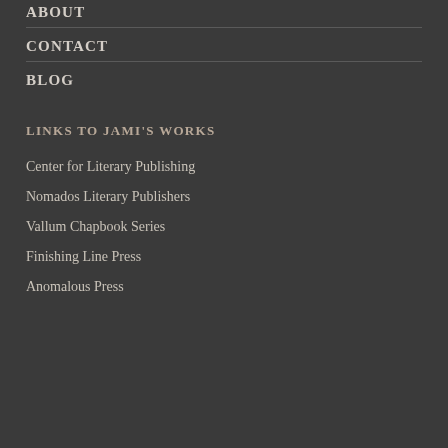ABOUT
CONTACT
BLOG
LINKS TO JAMI'S WORKS
Center for Literary Publishing
Nomados Literary Publishers
Vallum Chapbook Series
Finishing Line Press
Anomalous Press